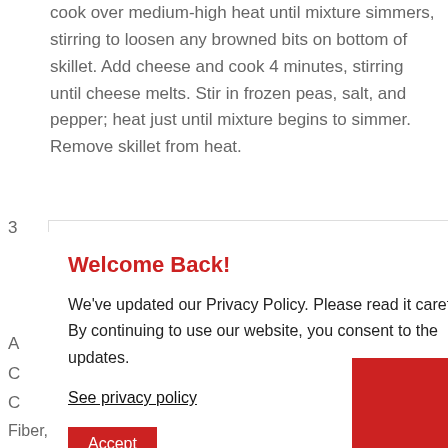cook over medium-high heat until mixture simmers, stirring to loosen any browned bits on bottom of skillet. Add cheese and cook 4 minutes, stirring until cheese melts. Stir in frozen peas, salt, and pepper; heat just until mixture begins to simmer. Remove skillet from heat.
3  In small bowl, lightly whisk eggs with chives, if
A
C
C
Fiber, 19g Protein
Welcome Back!
We've updated our Privacy Policy. Please read it carefully. By continuing to use our website, you consent to the updates.
See privacy policy
Accept